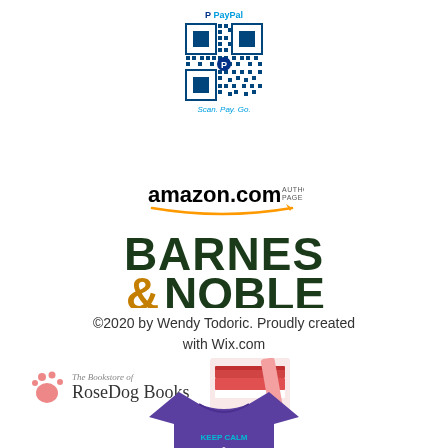[Figure (logo): PayPal QR code logo with 'Scan. Pay. Go.' tagline]
[Figure (logo): amazon.com Author Page logo with orange arrow]
[Figure (logo): Barnes & Noble logo in dark green and gold]
©2020 by Wendy Todoric. Proudly created with Wix.com
[Figure (logo): RoseDog Books logo with pink paw print and stacked books photo]
[Figure (photo): Purple t-shirt with text 'KEEP CALM & TODORIC' in pink lettering]